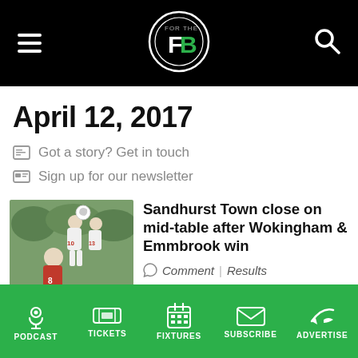FB (Football / sports news site header with hamburger menu, logo, and search icon)
April 12, 2017
Got a story? Get in touch
Sign up for our newsletter
[Figure (photo): Two football players in white jerseys competing in a header duel, with a player in red in the foreground, green background]
Sandhurst Town close on mid-table after Wokingham & Emmbrook win
Comment | Results
PODCAST  TICKETS  FIXTURES  SUBSCRIBE  ADVERTISE